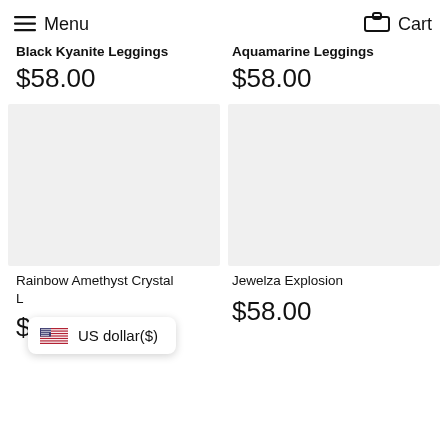Menu  Cart
Black Kyanite Leggings
$58.00
Aquamarine Leggings
$58.00
[Figure (photo): Product image placeholder for Rainbow Amethyst Crystal Leggings]
[Figure (photo): Product image placeholder for Jewelza Explosion Leggings]
Rainbow Amethyst Crystal L
Jewelza Explosion
$58.00
$58.00
US dollar($)